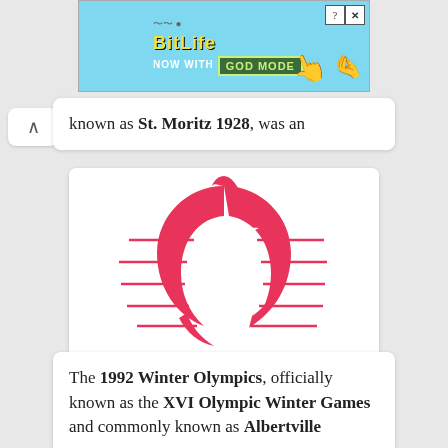[Figure (screenshot): BitLife game advertisement banner with 'NOW WITH GOD MODE' text on a light blue background with cartoon hand graphics]
known as St. Moritz 1928, was an
[Figure (logo): 1992 Albertville Winter Olympics logo — a red stylized flame/figure with horizontal speed lines on white background]
The 1992 Winter Olympics, officially known as the XVI Olympic Winter Games and commonly known as Albertville